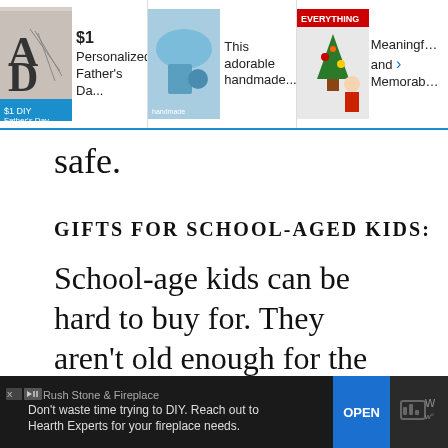[Figure (screenshot): Ad banner at top showing three sponsored product/content items: '$1 Personalized Father's Da...', 'This adorable handmade...', 'EVERYTHING' badge with 'Meaningful and Memorable' text, with thumbnail images]
safe.
GIFTS FOR SCHOOL-AGED KIDS:
School-age kids can be hard to buy for. They aren't old enough for the tech toys but too old for a lot of the Fisher Price kind of stuff. Some ideas:
[Figure (screenshot): Bottom advertisement banner: LT Rush Stone & Fireplace - 'Don't waste time trying to DIY. Reach out to Hearth Experts for your fireplace needs.' with OPEN button, on dark background]